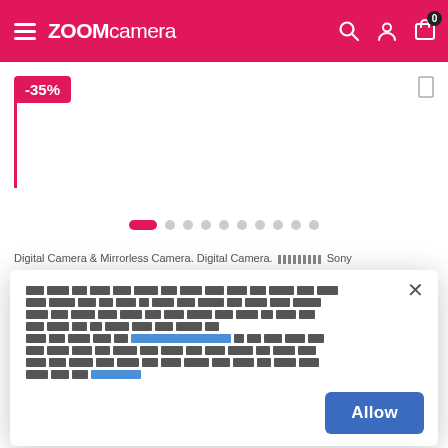ZOOMcamera — navigation header with hamburger menu, logo, search, user, and cart icons
[Figure (screenshot): E-commerce product page with -35% discount badge, carousel dots, breadcrumb navigation showing 'Digital Camera & Mirrorless Camera. Digital Camera. Sony', and a cookie consent modal popup with Thai language text and an Allow button]
[Thai language cookie consent text with a link and Allow button]